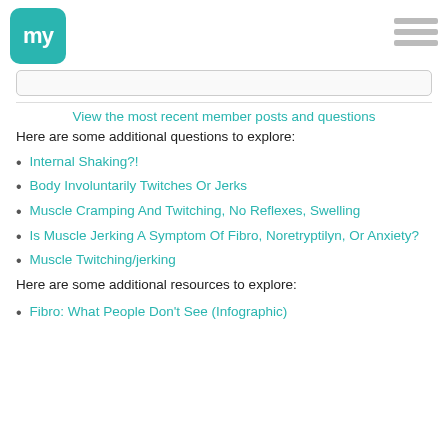my [logo] [hamburger menu]
View the most recent member posts and questions
Here are some additional questions to explore:
Internal Shaking?!
Body Involuntarily Twitches Or Jerks
Muscle Cramping And Twitching, No Reflexes, Swelling
Is Muscle Jerking A Symptom Of Fibro, Noretryptilyn, Or Anxiety?
Muscle Twitching/jerking
Here are some additional resources to explore:
Fibro: What People Don't See (Infographic)